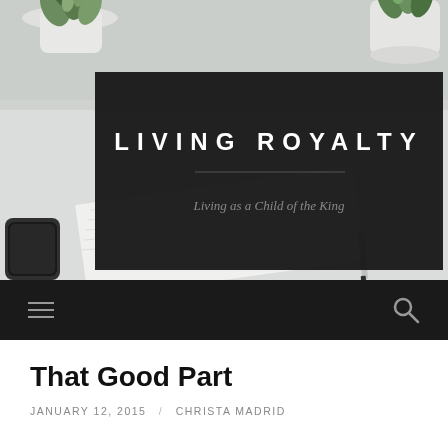[Figure (photo): Blog header photo showing a white desk with succulent plants, a smartphone, a notebook, and a pen in a minimalist style. Dark overlay box in center contains the blog logo.]
LIVING ROYALTY
Living as a Child of the King
[Figure (screenshot): Black navigation bar with hamburger menu icon on left and search icon on right]
That Good Part
JANUARY 12, 2015  /  CHRISTA MADRID